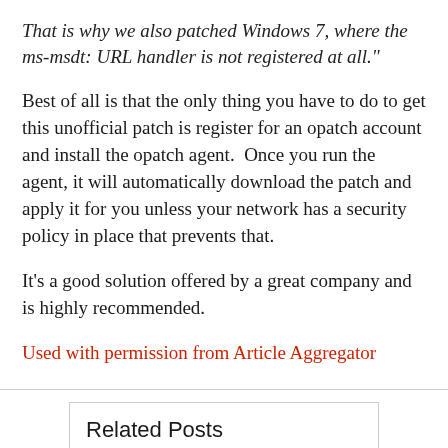That is why we also patched Windows 7, where the ms-msdt: URL handler is not registered at all."
Best of all is that the only thing you have to do to get this unofficial patch is register for an opatch account and install the opatch agent.  Once you run the agent, it will automatically download the patch and apply it for you unless your network has a security policy in place that prevents that.
It's a good solution offered by a great company and is highly recommended.
Used with permission from Article Aggregator
Related Posts
CORTANA MAY HAVE FLAW